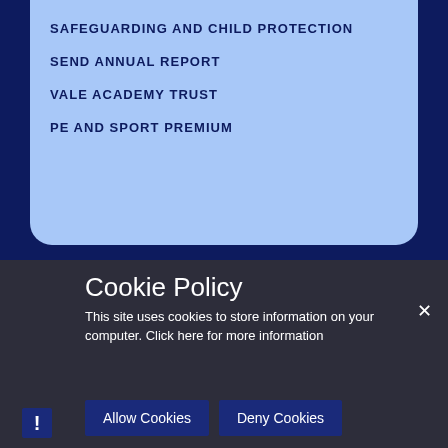SAFEGUARDING AND CHILD PROTECTION
SEND ANNUAL REPORT
VALE ACADEMY TRUST
PE AND SPORT PREMIUM
Cookie Policy
This site uses cookies to store information on your computer. Click here for more information
Allow Cookies
Deny Cookies